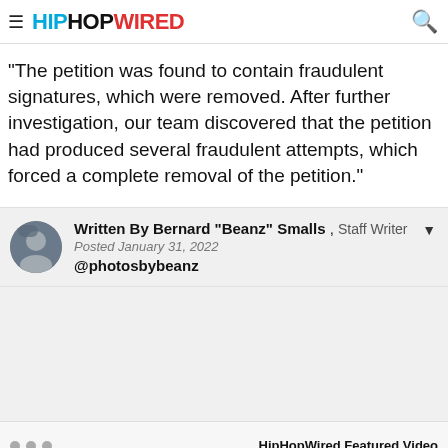HIPHOPWIRED
"The petition was found to contain fraudulent signatures, which were removed. After further investigation, our team discovered that the petition had produced several fraudulent attempts, which forced a complete removal of the petition."
Written By Bernard "Beanz" Smalls , Staff Writer
Posted January 31, 2022
@photosbybeanz
HipHopWired Featured Video